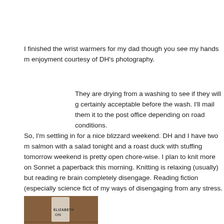I finished the wrist warmers for my dad though you see my hands m... enjoyment courtesy of DH's photography.
They are drying from a washing to see if they will g... certainly acceptable before the wash. I'll mail them... it to the post office depending on road conditions.
So, I'm settling in for a nice blizzard weekend. DH and I have two m... salmon with a salad tonight and a roast duck with stuffing tomorrow... weekend is pretty open chore-wise. I plan to knit more on Sonnet a... paperback this morning. Knitting is relaxing (usually) but reading re... brain completely disengage. Reading fiction (especially science fict... of my ways of disengaging from any stress.
[Figure (photo): Photo of a book with 'ELIZABETH' visible on the cover, on a wooden surface with yarn or knitting nearby.]